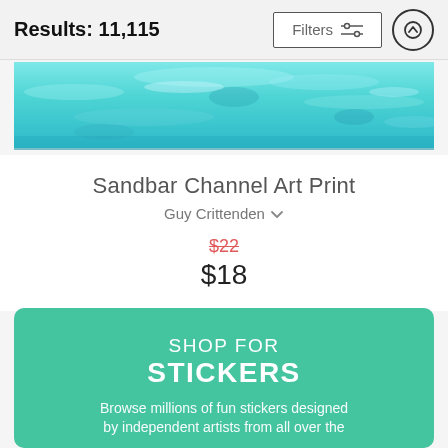Results: 11,115
[Figure (photo): Top portion of a product listing showing turquoise/cyan water (ocean or pool) as the product image for Sandbar Channel Art Print]
Sandbar Channel Art Print
Guy Crittenden ∨
$22 (strikethrough) $18
[Figure (infographic): Teal/green promotional banner card reading SHOP FOR STICKERS - Browse millions of fun stickers designed by independent artists from all over the...]